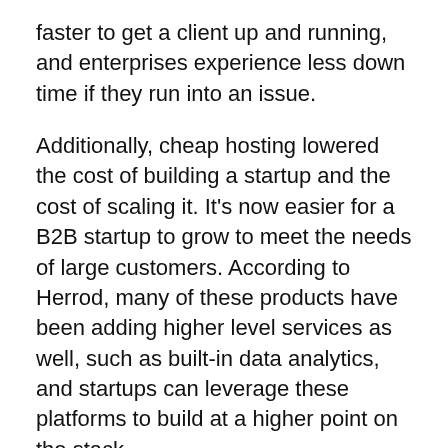faster to get a client up and running, and enterprises experience less down time if they run into an issue.
Additionally, cheap hosting lowered the cost of building a startup and the cost of scaling it. It's now easier for a B2B startup to grow to meet the needs of large customers. According to Herrod, many of these products have been adding higher level services as well, such as built-in data analytics, and startups can leverage these platforms to build at a higher point on the stack.
The march toward open source is another aspect of the recent rise of enterprise startups, because it gives startups another step forward, something